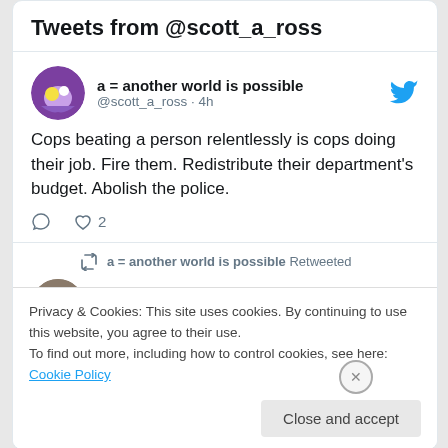Tweets from @scott_a_ross
a = another world is possible
@scott_a_ross · 4h

Cops beating a person relentlessly is cops doing their job. Fire them. Redistribute their department's budget. Abolish the police.
a = another world is possible Retweeted
K Petrin
Privacy & Cookies: This site uses cookies. By continuing to use this website, you agree to their use.
To find out more, including how to control cookies, see here: Cookie Policy
Close and accept